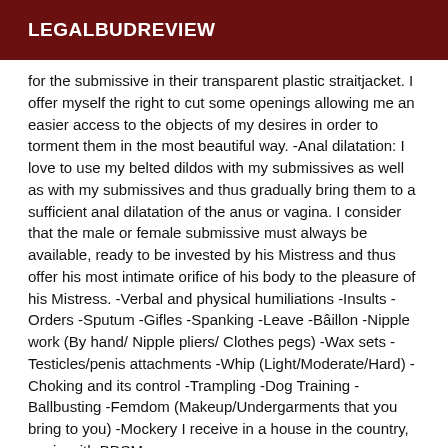LEGALBUDREVIEW
for the submissive in their transparent plastic straitjacket. I offer myself the right to cut some openings allowing me an easier access to the objects of my desires in order to torment them in the most beautiful way. -Anal dilatation: I love to use my belted dildos with my submissives as well as with my submissives and thus gradually bring them to a sufficient anal dilatation of the anus or vagina. I consider that the male or female submissive must always be available, ready to be invested by his Mistress and thus offer his most intimate orifice of his body to the pleasure of his Mistress. -Verbal and physical humiliations -Insults -Orders -Sputum -Gifles -Spanking -Leave -Bâillon -Nipple work (By hand/ Nipple pliers/ Clothes pegs) -Wax sets -Testicles/penis attachments -Whip (Light/Moderate/Hard) -Choking and its control -Trampling -Dog Training -Ballbusting -Femdom (Makeup/Undergarments that you bring to you) -Mockery I receive in a house in the country, equip with BDSM